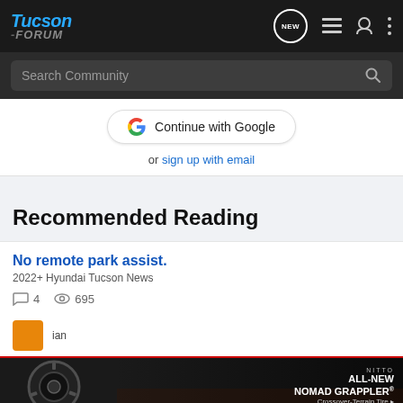Tucson-Forum navigation bar with logo, search, and icons
Search Community
Continue with Google
or sign up with email
Recommended Reading
No remote park assist.
2022+ Hyundai Tucson News
4 replies · 695 views
[Figure (screenshot): Ad banner for Nitto All-New Nomad Grappler Crossover-Terrain Tire]